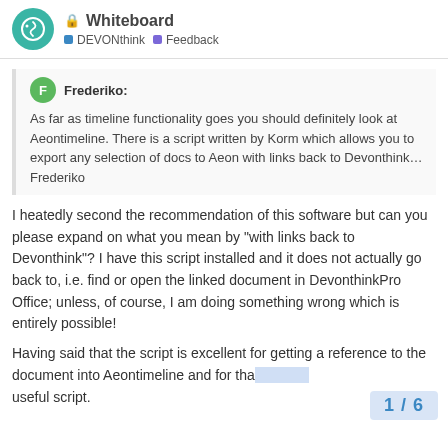Whiteboard — DEVONthink | Feedback
Frederiko:
As far as timeline functionality goes you should definitely look at Aeontimeline. There is a script written by Korm which allows you to export any selection of docs to Aeon with links back to Devonthink…
Frederiko
I heatedly second the recommendation of this software but can you please expand on what you mean by "with links back to Devonthink"? I have this script installed and it does not actually go back to, i.e. find or open the linked document in DevonthinkPro Office; unless, of course, I am doing something wrong which is entirely possible!
Having said that the script is excellent for getting a reference to the document into Aeontimeline and for tha… useful script.
1 / 6